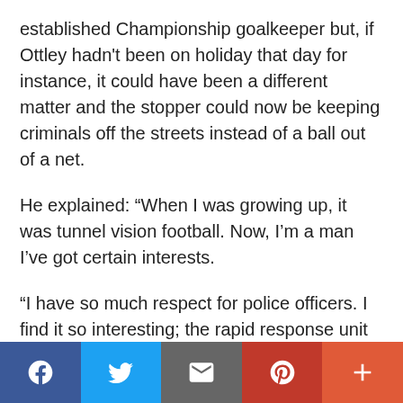established Championship goalkeeper but, if Ottley hadn't been on holiday that day for instance, it could have been a different matter and the stopper could now be keeping criminals off the streets instead of a ball out of a net.
He explained: “When I was growing up, it was tunnel vision football. Now, I’m a man I’ve got certain interests.
“I have so much respect for police officers. I find it so interesting; the rapid response unit in cars, the traffic cops.